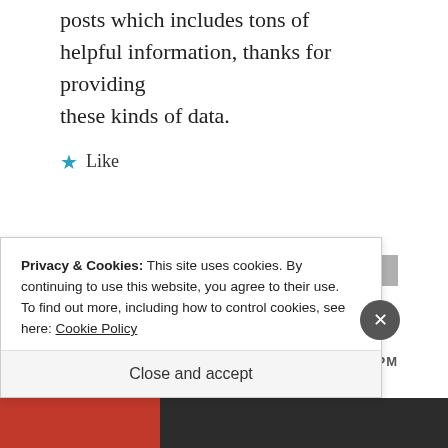posts which includes tons of helpful information, thanks for providing these kinds of data.
★ Like
REPLY
[Figure (logo): Teal/turquoise geometric avatar logo for user 'seo']
seo
OCTOBER 6, 2014 AT 6:05 PM
Privacy & Cookies: This site uses cookies. By continuing to use this website, you agree to their use.
To find out more, including how to control cookies, see here: Cookie Policy
Close and accept